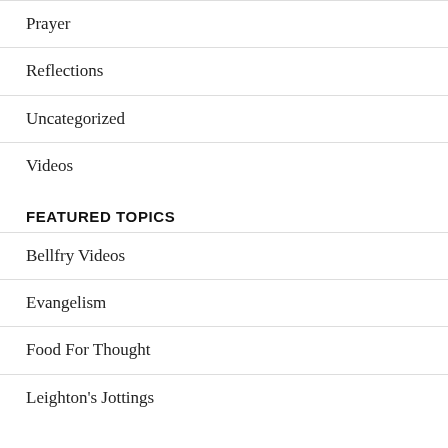Prayer
Reflections
Uncategorized
Videos
FEATURED TOPICS
Bellfry Videos
Evangelism
Food For Thought
Leighton's Jottings